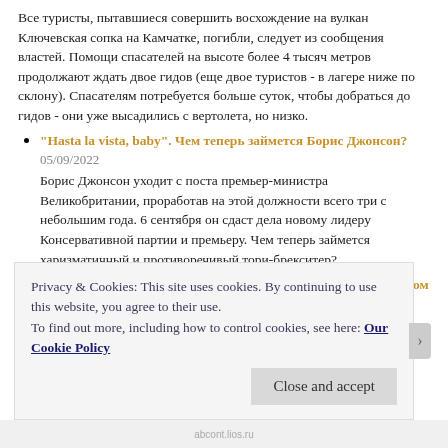Все туристы, пытавшиеся совершить восхождение на вулкан Ключевская сопка на Камчатке, погибли, следует из сообщения властей. Помощи спасателей на высоте более 4 тысяч метров продолжают ждать двое гидов (еще двое туристов - в лагере ниже по склону). Спасателям потребуется больше суток, чтобы добраться до гидов - они уже высадились с вертолета, но низко.
"Hasta la vista, baby". Чем теперь займется Борис Джонсон?
05/09/2022
Борис Джонсон уходит с поста премьер-министра Великобритании, проработав на этой должности всего три с небольшим года. 6 сентября он сдаст дела новому лидеру Консервативной партии и премьеру. Чем теперь займется харизматичный и противоречивый тори-брекситер?
10 человек погибли, 15 ранены в результате нападений с ножом в Канаде
05/09/2022
По меньшей мере 10 человек погибли и еще 15 получили ножевые
Privacy & Cookies: This site uses cookies. By continuing to use this website, you agree to their use.
To find out more, including how to control cookies, see here: Our Cookie Policy